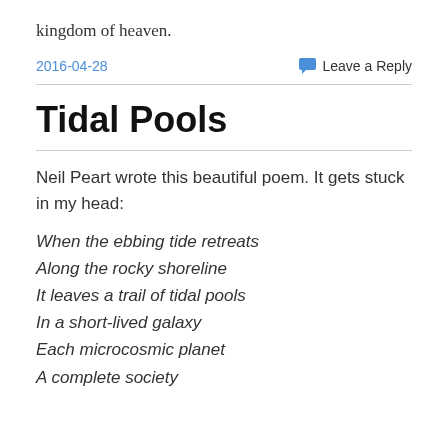kingdom of heaven.
2016-04-28
Leave a Reply
Tidal Pools
Neil Peart wrote this beautiful poem. It gets stuck in my head:
When the ebbing tide retreats
Along the rocky shoreline
It leaves a trail of tidal pools
In a short-lived galaxy
Each microcosmic planet
A complete society